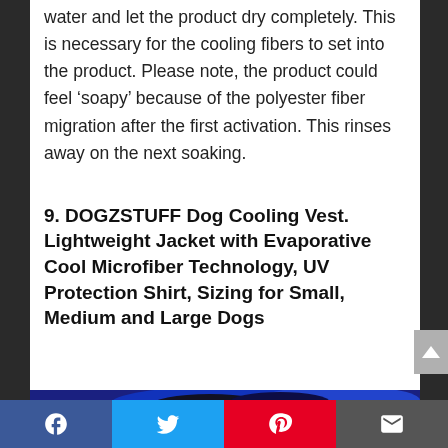water and let the product dry completely. This is necessary for the cooling fibers to set into the product. Please note, the product could feel ‘soapy’ because of the polyester fiber migration after the first activation. This rinses away on the next soaking.
9. DOGZSTUFF Dog Cooling Vest. Lightweight Jacket with Evaporative Cool Microfiber Technology, UV Protection Shirt, Sizing for Small, Medium and Large Dogs
[Figure (photo): Partial image of a dog cooling vest product shown at the bottom of the page, blue and black colors visible]